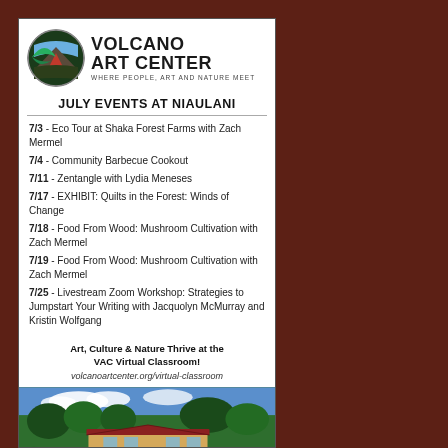[Figure (logo): Volcano Art Center circular logo with leaf and lava design, next to text 'VOLCANO ART CENTER WHERE PEOPLE, ART AND NATURE MEET']
JULY EVENTS AT NIAULANI
7/3 - Eco Tour at Shaka Forest Farms with Zach Mermel
7/4 - Community Barbecue Cookout
7/11 - Zentangle with Lydia Meneses
7/17 - EXHIBIT: Quilts in the Forest: Winds of Change
7/18 - Food From Wood: Mushroom Cultivation with Zach Mermel
7/19 - Food From Wood: Mushroom Cultivation with Zach Mermel
7/25 - Livestream Zoom Workshop: Strategies to Jumpstart Your Writing with Jacquolyn McMurray and Kristin Wolfgang
Art, Culture & Nature Thrive at the VAC Virtual Classroom!
volcanoartcenter.org/virtual-classroom
[Figure (photo): Exterior photo of the Volcano Art Center building surrounded by tropical trees and garden]